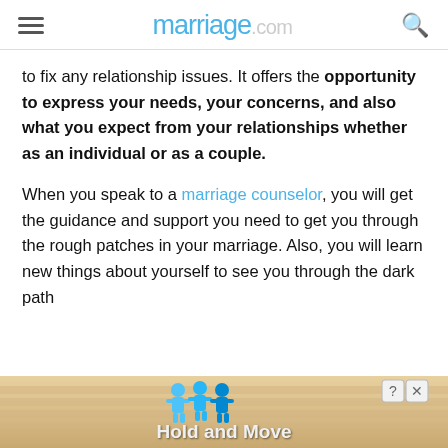marriage.com
to fix any relationship issues. It offers the opportunity to express your needs, your concerns, and also what you expect from your relationships whether as an individual or as a couple.
When you speak to a marriage counselor, you will get the guidance and support you need to get you through the rough patches in your marriage. Also, you will learn new things about yourself to see you through the dark path
[Figure (screenshot): Advertisement banner showing 'Hold and Move' with cartoon blue figures and close/help buttons]